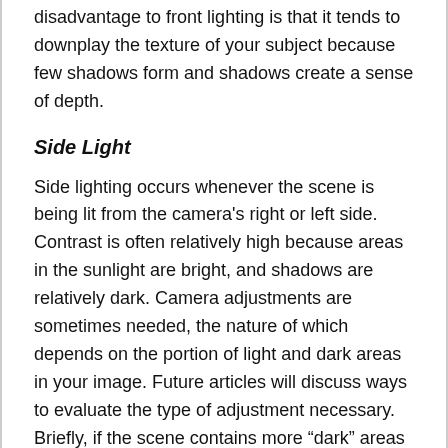disadvantage to front lighting is that it tends to downplay the texture of your subject because few shadows form and shadows create a sense of depth.
Side Light
Side lighting occurs whenever the scene is being lit from the camera's right or left side. Contrast is often relatively high because areas in the sunlight are bright, and shadows are relatively dark. Camera adjustments are sometimes needed, the nature of which depends on the portion of light and dark areas in your image. Future articles will discuss ways to evaluate the type of adjustment necessary. Briefly, if the scene contains more “dark” areas you will need to tell the camera this by dialing in a negative (or fraction less than 1 on some models) exposure compensation. You should reference your camera’s manual to learn how to adjust the exposure compensation.